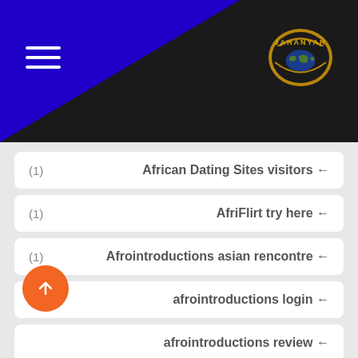[Figure (logo): Jahanyar gold badge logo on dark header with blue triangle and hamburger menu icon]
(1)  African Dating Sites visitors ←
(1)  AfriFlirt try here ←
(1)  Afrointroductions asian rencontre ←
(1)  afrointroductions login ←
(1)  afrointroductions review ←